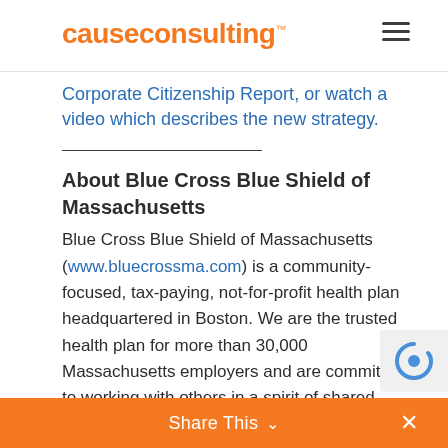causeconsulting™
Corporate Citizenship Report, or watch a video which describes the new strategy.
About Blue Cross Blue Shield of Massachusetts
Blue Cross Blue Shield of Massachusetts (www.bluecrossma.com) is a community-focused, tax-paying, not-for-profit health plan headquartered in Boston. We are the trusted health plan for more than 30,000 Massachusetts employers and are committed to working with others in a spirit of shared responsibility to ma
Share This ∨  ×